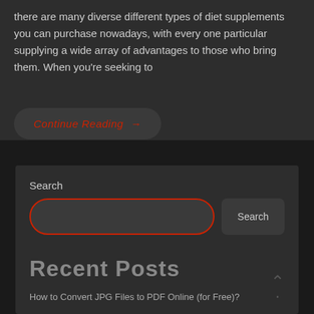there are many diverse different types of diet supplements you can purchase nowadays, with every one particular supplying a wide array of advantages to those who bring them. When you're seeking to
Continue Reading →
Search
Search
Recent Posts
How to Convert JPG Files to PDF Online (for Free)?